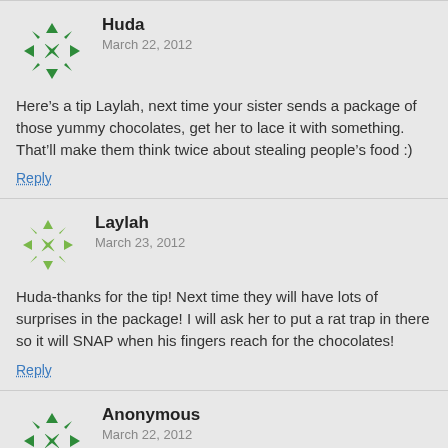Huda
March 22, 2012
Here’s a tip Laylah, next time your sister sends a package of those yummy chocolates, get her to lace it with something. That’ll make them think twice about stealing people’s food :)
Reply
Laylah
March 23, 2012
Huda-thanks for the tip! Next time they will have lots of surprises in the package! I will ask her to put a rat trap in there so it will SNAP when his fingers reach for the chocolates!
Reply
Anonymous
March 22, 2012